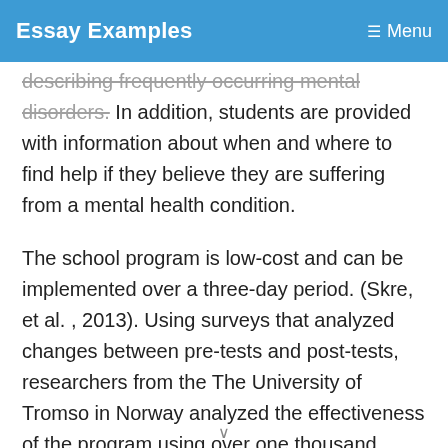Essay Examples  ☰ Menu
describing frequently occurring mental disorders. In addition, students are provided with information about when and where to find help if they believe they are suffering from a mental health condition.
The school program is low-cost and can be implemented over a three-day period. (Skre, et al. , 2013). Using surveys that analyzed changes between pre-tests and post-tests, researchers from the The University of Tromso in Norway analyzed the effectiveness of the program using over one thousand student responses in the three grade levels (Skre, et al. , 2013). Students in all grade levels showed a significant improvement in the